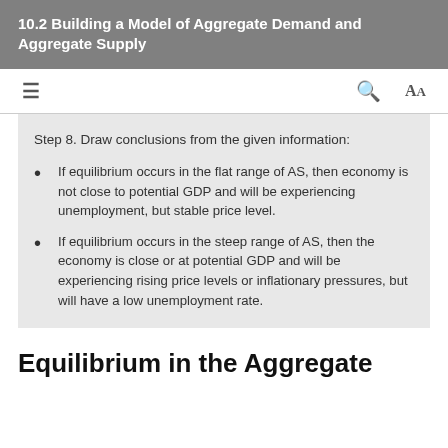10.2 Building a Model of Aggregate Demand and Aggregate Supply
Step 8. Draw conclusions from the given information:
If equilibrium occurs in the flat range of AS, then economy is not close to potential GDP and will be experiencing unemployment, but stable price level.
If equilibrium occurs in the steep range of AS, then the economy is close or at potential GDP and will be experiencing rising price levels or inflationary pressures, but will have a low unemployment rate.
Equilibrium in the Aggregate